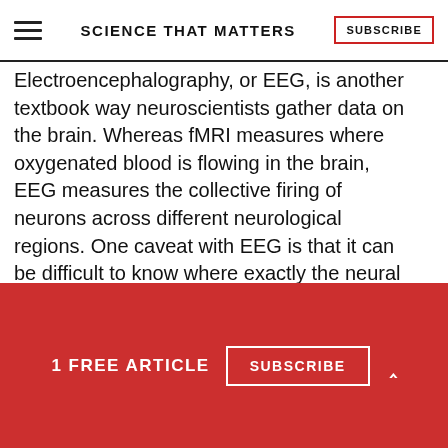SCIENCE THAT MATTERS | SUBSCRIBE
Electroencephalography, or EEG, is another textbook way neuroscientists gather data on the brain. Whereas fMRI measures where oxygenated blood is flowing in the brain, EEG measures the collective firing of neurons across different neurological regions. One caveat with EEG is that it can be difficult to know where exactly the neural activity being measured is generated. Still, the method has been
1 FREE ARTICLE
SUBSCRIBE